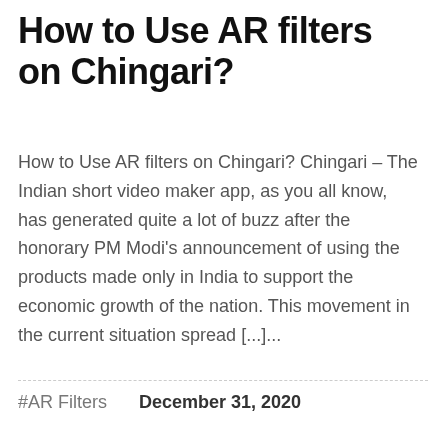How to Use AR filters on Chingari?
How to Use AR filters on Chingari? Chingari – The Indian short video maker app, as you all know, has generated quite a lot of buzz after the honorary PM Modi's announcement of using the products made only in India to support the economic growth of the nation. This movement in the current situation spread [...]...
#AR Filters   December 31, 2020